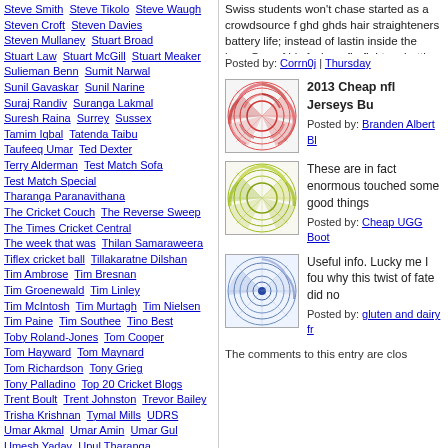Steve Smith  Steve Tikolo  Steve Waugh  Steven Croft  Steven Davies  Steven Mullaney  Stuart Broad  Stuart Law  Stuart McGill  Stuart Meaker  Sulieman Benn  Sumit Narwal  Sunil Gavaskar  Sunil Narine  Suraj Randiv  Suranga Lakmal  Suresh Raina  Surrey  Sussex  Tamim Iqbal  Tatenda Taibu  Taufeeq Umar  Ted Dexter  Terry Alderman  Test Match Sofa  Test Match Special  Tharanga Paranavithana  The Cricket Couch  The Reverse Sweep  The Times Cricket Central  The week that was  Thilan Samaraweera  Tiflex cricket ball  Tillakaratne Dilshan  Tim Ambrose  Tim Bresnan  Tim Groenewald  Tim Linley  Tim McIntosh  Tim Murtagh  Tim Nielsen  Tim Paine  Tim Southee  Tino Best  Toby Roland-Jones  Tom Cooper  Tom Hayward  Tom Maynard  Tom Richardson  Tony Grieg  Tony Palladino  Top 20 Cricket Blogs  Trent Boult  Trent Johnston  Trevor Bailey  Trisha Krishnan  Tymal Mills  UDRS  Umar Akmal  Umar Amin  Umar Gul  Umesh Yadav  Upul Tharanga  Usman Afzaal  Usman Khawaja  Varun Aaron  Varun Chopra  Vernon Philander  Victor Trumper  Vikram Solanki  Villains  Vinay Kumar  Vinod Kambli  Virat Kohli  Virender Sehwag  Viv Richards  VVS Laxman
Swiss students won't chase started as a crowdsource f ghd ghds hair straighteners battery life; instead of lastin inside the bag. One of his f where firefighters battle int can turn on them at a mom rebuilding engines are the
Posted by: Corrn0j | Thursday
[Figure (illustration): Red/pink abstract circular pattern thumbnail]
2013 Cheap nfl Jerseys Bu
Posted by: Branden Albert Bl
[Figure (illustration): Green/yellow abstract circular pattern thumbnail]
These are in fact enormous touched some good things
Posted by: Cheap UGG Boot
[Figure (illustration): Blue/white abstract circular pattern thumbnail with center dot]
Useful info. Lucky me I fou why this twist of fate did no
Posted by: gluten and dairy fr
The comments to this entry are clos